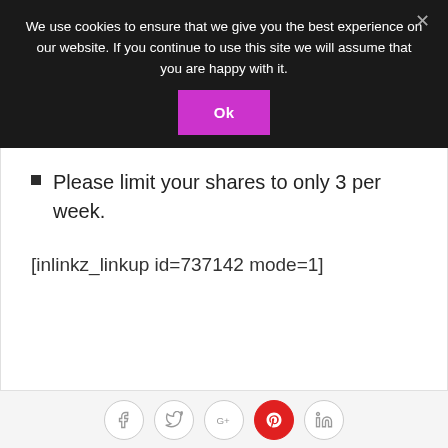We use cookies to ensure that we give you the best experience on our website. If you continue to use this site we will assume that you are happy with it.
Ok
Please limit your shares to only 3 per week.
[inlinkz_linkup id=737142 mode=1]
[Figure (other): Social sharing icons: Facebook, Twitter, Google+, Pinterest (red), LinkedIn]